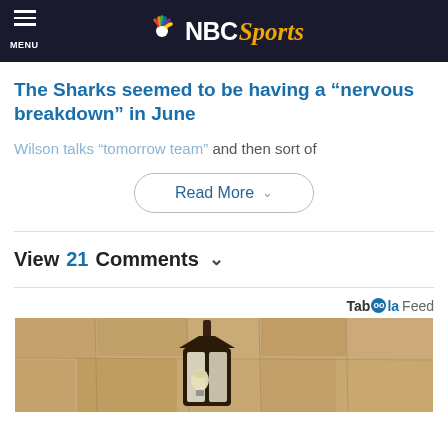NBC Sports - MENU
The Sharks seemed to be having a “nervous breakdown” in June
Wilson talks “tomorrow team” and then sort of
Read More
View 21 Comments
Taboola Feed
[Figure (photo): Outdoor wall lantern mounted on textured stone wall]